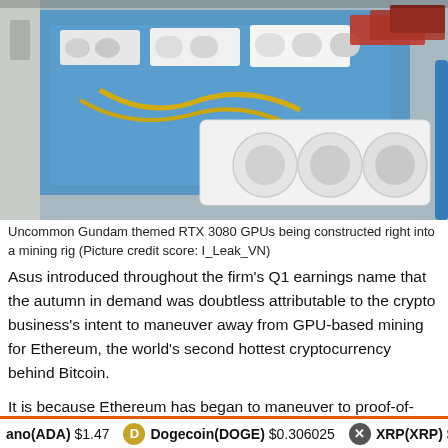[Figure (photo): Gundam themed RTX 3080 GPUs being constructed into a mining rig inside a blue metal frame. Multiple white and black GPU cards with fans visible, along with cables.]
Uncommon Gundam themed RTX 3080 GPUs being constructed right into a mining rig (Picture credit score: I_Leak_VN)
Asus introduced throughout the firm's Q1 earnings name that the autumn in demand was doubtless attributable to the crypto business's intent to maneuver away from GPU-based mining for Ethereum, the world's second hottest cryptocurrency behind Bitcoin.
It is because Ethereum has began to maneuver to proof-of-stake, from the earlier proof-of-work methodology beforehand utilized by Bitcoin. In easy phrases, proof-of-work is a validation
ano(ADA) $1.47   Dogecoin(DOGE) $0.306025   XRP(XRP) $4